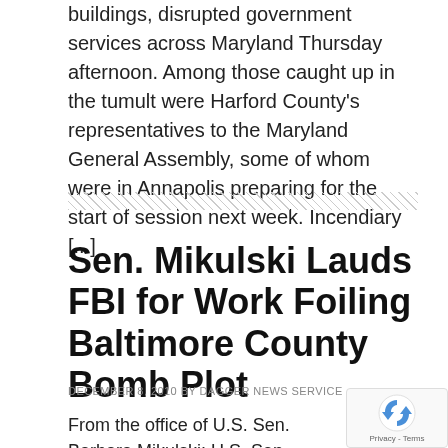buildings, disrupted government services across Maryland Thursday afternoon. Among those caught up in the tumult were Harford County's representatives to the Maryland General Assembly, some of whom were in Annapolis preparing for the start of session next week. Incendiary [...]
Sen. Mikulski Lauds FBI for Work Foiling Baltimore County Bomb Plot
DECEMBER 8, 2010 BY DAGGER NEWS SERVICE
From the office of U.S. Sen. Barbara Mikulski: U.S. Sen. Barbara A. Mikulski (D-Md.) issued the following statement